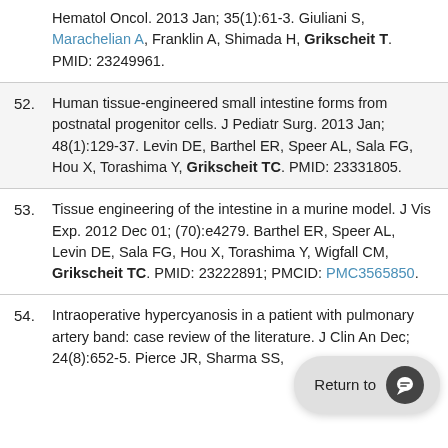Hematol Oncol. 2013 Jan; 35(1):61-3. Giuliani S, Marachelian A, Franklin A, Shimada H, Grikscheit T. PMID: 23249961.
52. Human tissue-engineered small intestine forms from postnatal progenitor cells. J Pediatr Surg. 2013 Jan; 48(1):129-37. Levin DE, Barthel ER, Speer AL, Sala FG, Hou X, Torashima Y, Grikscheit TC. PMID: 23331805.
53. Tissue engineering of the intestine in a murine model. J Vis Exp. 2012 Dec 01; (70):e4279. Barthel ER, Speer AL, Levin DE, Sala FG, Hou X, Torashima Y, Wigfall CM, Grikscheit TC. PMID: 23222891; PMCID: PMC3565850.
54. Intraoperative hypercyanosis in a patient with pulmonary artery band: case report and review of the literature. J Clin An... Dec; 24(8):652-5. Pierce JR, Sharma SS,